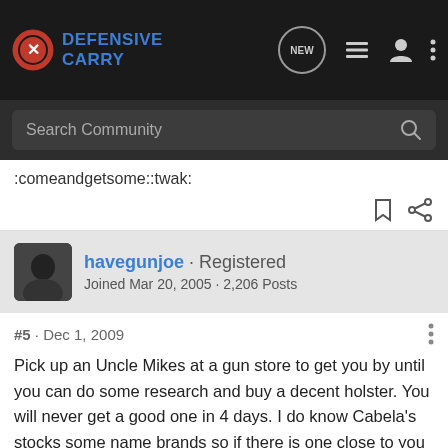Defensive Carry
Search Community
:comeandgetsome::twak:
havegunjoe · Registered
Joined Mar 20, 2005 · 2,206 Posts
#5 · Dec 1, 2009
Pick up an Uncle Mikes at a gun store to get you by until you can do some research and buy a decent holster. You will never get a good one in 4 days. I do know Cabela's stocks some name brands so if there is one close to you you might try there.